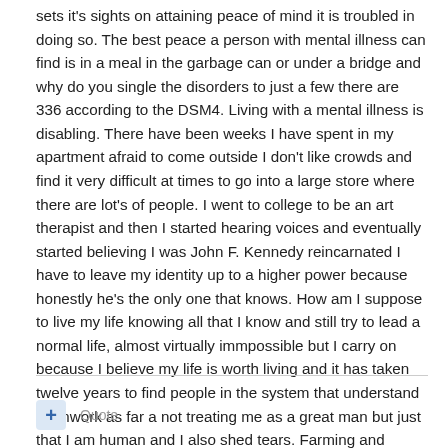sets it's sights on attaining peace of mind it is troubled in doing so. The best peace a person with mental illness can find is in a meal in the garbage can or under a bridge and why do you single the disorders to just a few there are 336 according to the DSM4. Living with a mental illness is disabling. There have been weeks I have spent in my apartment afraid to come outside I don't like crowds and find it very difficult at times to go into a large store where there are lot's of people. I went to college to be an art therapist and then I started hearing voices and eventually started believing I was John F. Kennedy reincarnated I have to leave my identity up to a higher power because honestly he's the only one that knows. How am I suppose to live my life knowing all that I know and still try to lead a normal life, almost virtually immpossible but I carry on because I believe my life is worth living and it has taken twelve years to find people in the system that understand teamwork as far a not treating me as a great man but just that I am human and I also shed tears. Farming and hunters / twisted evolution I don't know what your getting at.